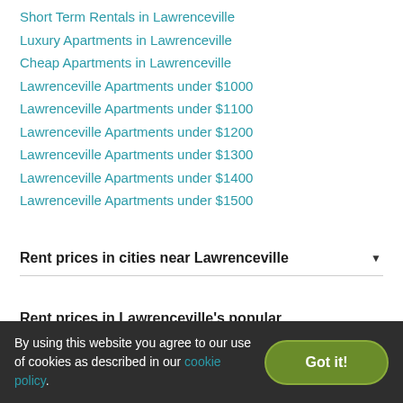Short Term Rentals in Lawrenceville
Luxury Apartments in Lawrenceville
Cheap Apartments in Lawrenceville
Lawrenceville Apartments under $1000
Lawrenceville Apartments under $1100
Lawrenceville Apartments under $1200
Lawrenceville Apartments under $1300
Lawrenceville Apartments under $1400
Lawrenceville Apartments under $1500
Rent prices in cities near Lawrenceville
Rent prices in Lawrenceville's popular neighborhoods
Popular Zip Codes in Lawrenceville, GA
By using this website you agree to our use of cookies as described in our cookie policy.